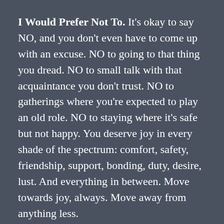I Would Prefer Not To. It's okay to say NO, and you don't even have to come up with an excuse. NO to going to that thing you dread. NO to small talk with that acquaintance you don't trust. NO to gatherings where you're expected to play an old role. NO to staying where it's safe but not happy. You deserve joy in every shade of the spectrum: comfort, safety, friendship, support, bonding, duty, desire, lust. And everything in between. Move towards joy, always. Move away from anything less.
It's Going To Be A Beautiful Wall. You're the architect of your life. Get your hands on those blueprints ASAP. Construct your present, add on, renovate, tear it down to sticks and start